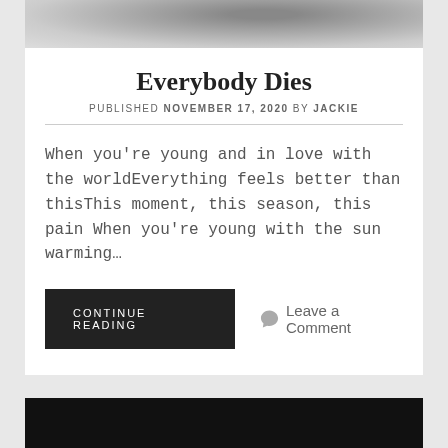[Figure (photo): Grayscale photo at top of page, partially visible abstract/nature image]
Everybody Dies
PUBLISHED NOVEMBER 17, 2020 BY JACKIE
When you're young and in love with the worldEverything feels better than thisThis moment, this season, this pain When you're young with the sun warming…
CONTINUE READING
Leave a Comment
[Figure (photo): Dark/black image at bottom of page, partially visible]